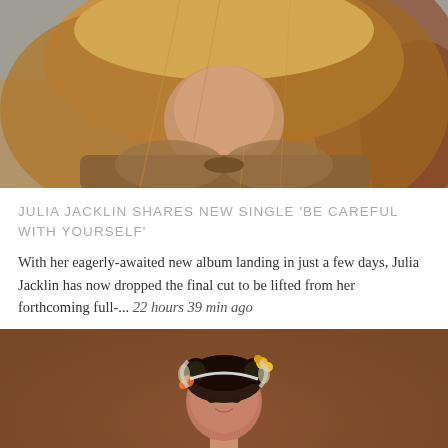[Figure (photo): Close-up photo of Julia Jacklin with long blonde hair wearing a brown/tan furry jacket against a blurred outdoor background]
JULIA JACKLIN SHARES NEW SINGLE 'BE CAREFUL WITH YOURSELF'
With her eagerly-awaited new album landing in just a few days, Julia Jacklin has now dropped the final cut to be lifted from her forthcoming full-... 22 hours 39 min ago
[Figure (photo): Photo of a young woman with dark hair in double buns, wearing headphones and a brown sweatshirt with a graphic design, against a warm brown background]